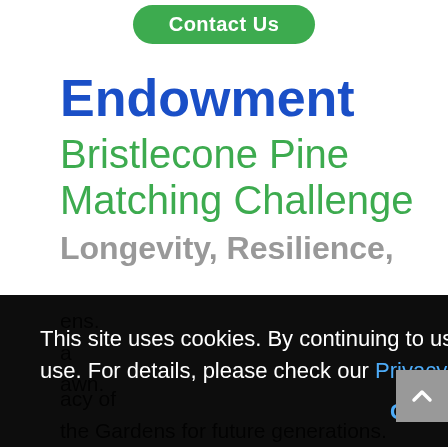[Figure (screenshot): Green rounded 'Contact Us' button at top center of page]
Endowment
Bristlecone Pine Matching Challenge
Longevity, Resilience,
This site uses cookies. By continuing to use this website, you agree to their use. For details, please check our Privacy Policy
Got it!
the Gardens for future generations.